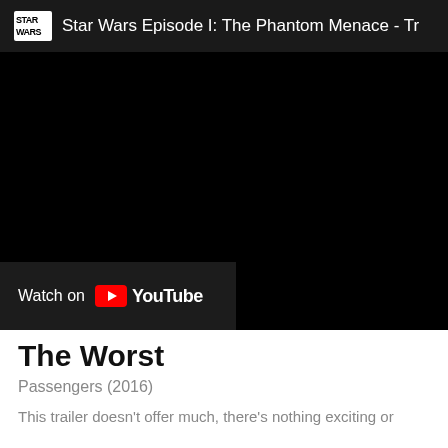[Figure (screenshot): YouTube video embed showing Star Wars Episode I: The Phantom Menace trailer thumbnail. The video player has a dark top bar with the Star Wars logo and title text 'Star Wars Episode I: The Phantom Menace - Tr' (truncated). The main video area is black. At the bottom left is a 'Watch on YouTube' button overlay with the YouTube play icon.]
The Worst
Passengers (2016)
This trailer doesn't offer much, there's nothing exciting or